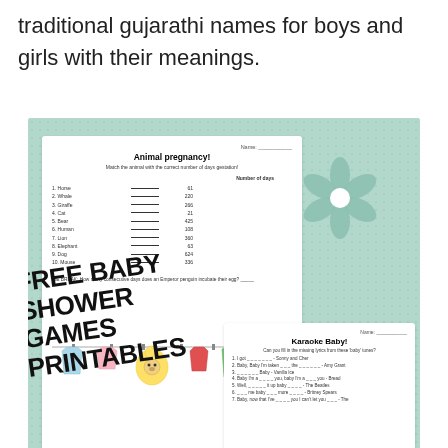traditional gujarathi names for boys and girls with their meanings.
[Figure (illustration): Baby shower themed image with mint green polka dot background, a white card showing 'Animal pregnancy!' matching game, a flower decoration, clothesline with baby clothes illustration, bold text 'FREE BABY SHOWER GAMES PRINTABLES', and a 'Karaoke Baby!' card at bottom right.]